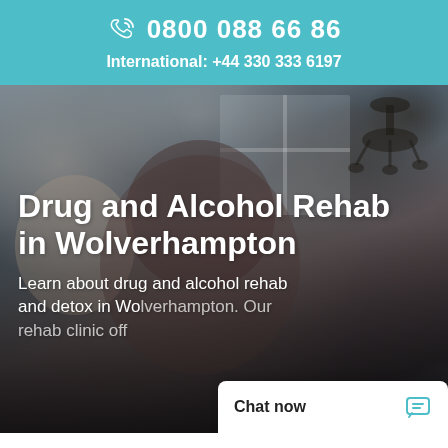0800 088 66 86
International: +44 330 333 6197
[Figure (photo): Blurred background photo of two people, likely a counselor and client in an indoor setting with a window and chandelier visible]
Drug and Alcohol Rehab in Wolverhampton
Learn about drug and alcohol rehab and detox in Wolverhampton. Our rehab clinic off...